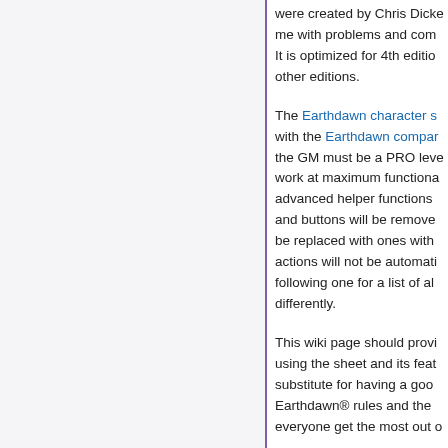were created by Chris Dicke me with problems and com It is optimized for 4th editio other editions.
The Earthdawn character s with the Earthdawn compar the GM must be a PRO leve work at maximum functiona advanced helper functions  and buttons will be remove be replaced with ones with  actions will not be automati following one for a list of al differently.
This wiki page should provi using the sheet and its feat substitute for having a goo Earthdawn® rules and the  everyone get the most out o